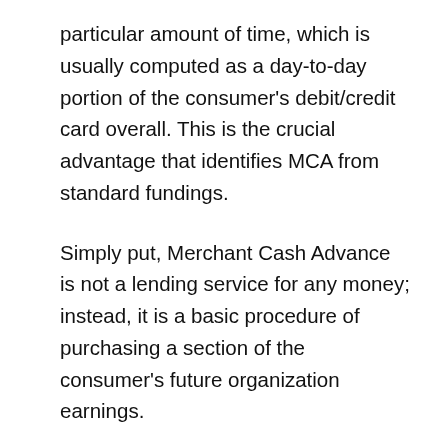particular amount of time, which is usually computed as a day-to-day portion of the consumer's debit/credit card overall. This is the crucial advantage that identifies MCA from standard fundings.
Simply put, Merchant Cash Advance is not a lending service for any money; instead, it is a basic procedure of purchasing a section of the consumer's future organization earnings.
Benefits of MCA